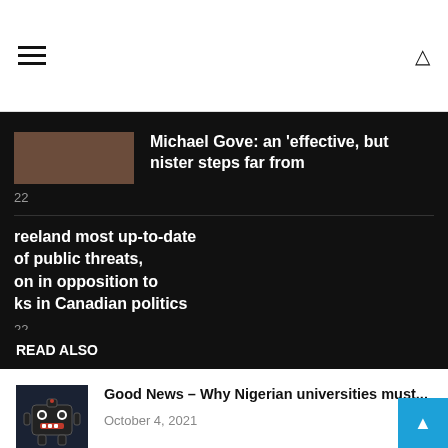Navigation bar with hamburger menu and search icon
[Figure (screenshot): Dark overlay section showing article about Michael Gove with thumbnail image]
READ ALSO
Good News – Why Nigerian universities must... October 4, 2021
Good News – Implications of college kidnappings... July 8, 2021
Nigeria: Atiku Below Fire for Kicking In...
reeland most up-to-date of public threats, on in opposition to ks in Canadian politics
All Right Reserved.